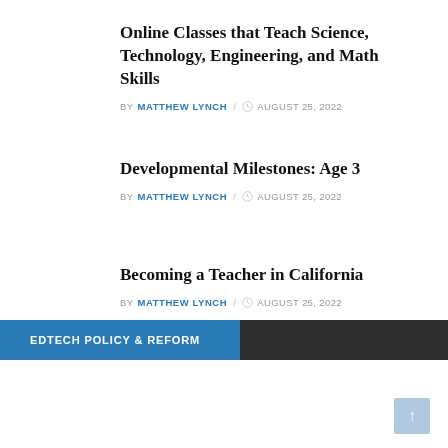Online Classes that Teach Science, Technology, Engineering, and Math Skills
BY MATTHEW LYNCH / AUGUST 25, 2022
Developmental Milestones: Age 3
BY MATTHEW LYNCH / AUGUST 25, 2022
Becoming a Teacher in California
BY MATTHEW LYNCH / AUGUST 25, 2022
EDTECH POLICY & REFORM